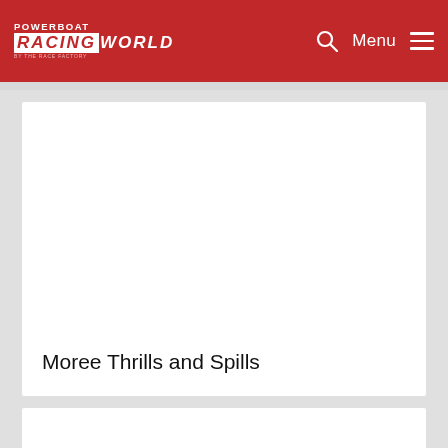POWERBOAT RACINGWORLD — Menu
[Figure (photo): Large white/blank article image placeholder for article card]
Moree Thrills and Spills
[Figure (photo): Partial second article card image placeholder at bottom of page]